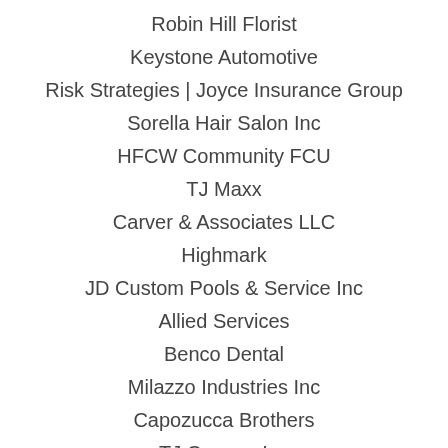Robin Hill Florist
Keystone Automotive
Risk Strategies | Joyce Insurance Group
Sorella Hair Salon Inc
HFCW Community FCU
TJ Maxx
Carver & Associates LLC
Highmark
JD Custom Pools & Service Inc
Allied Services
Benco Dental
Milazzo Industries Inc
Capozucca Brothers
TJ Cannon Inc